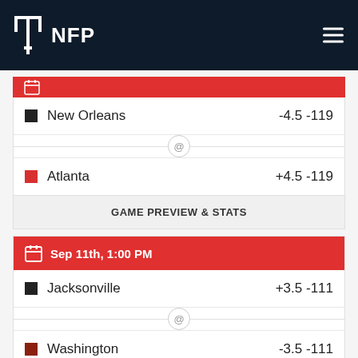NFP
New Orleans -4.5 -119 @ Atlanta +4.5 -119
GAME PREVIEW & STATS
Sep 11th, 1:00 PM
Jacksonville +3.5 -111 @ Washington -3.5 -111
GAME PREVIEW & STATS
SEE MORE